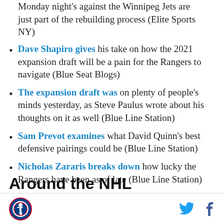Monday night's against the Winnipeg Jets are just part of the rebuilding process (Elite Sports NY)
Dave Shapiro gives his take on how the 2021 expansion draft will be a pain for the Rangers to navigate (Blue Seat Blogs)
The expansion draft was on plenty of people's minds yesterday, as Steve Paulus wrote about his thoughts on it as well (Blue Line Station)
Sam Prevot examines what David Quinn's best defensive pairings could be (Blue Line Station)
Nicholas Zararis breaks down how lucky the Rangers have been as of late (Blue Line Station)
Around the NHL